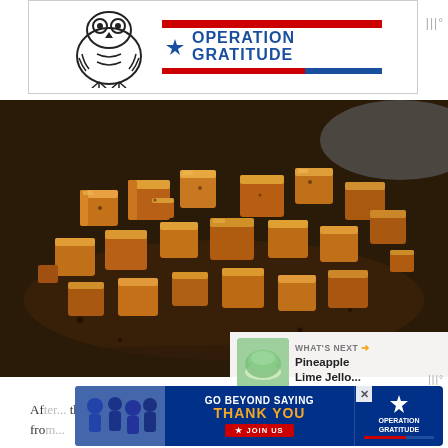[Figure (logo): Operation Gratitude advertisement banner with an owl mascot and patriotic logo at the top of the page]
[Figure (photo): Close-up food photo of golden-brown fried tofu cubes in a pan with spices and oil]
[Figure (infographic): What's Next panel showing Pineapple Lime Jello thumbnail in bottom right of food photo]
[Figure (logo): Operation Gratitude Go Beyond Saying Thank You advertisement banner at the bottom]
After... the cubes from...